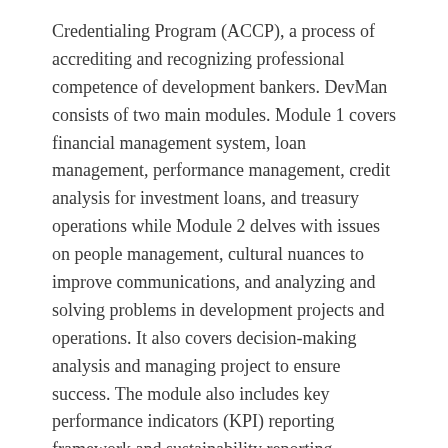Credentialing Program (ACCP), a process of accrediting and recognizing professional competence of development bankers. DevMan consists of two main modules. Module 1 covers financial management system, loan management, performance management, credit analysis for investment loans, and treasury operations while Module 2 delves with issues on people management, cultural nuances to improve communications, and analyzing and solving problems in development projects and operations. It also covers decision-making analysis and managing project to ensure success. The module also includes key performance indicators (KPI) reporting framework and sustainability reporting.
Apart from in-depth classroom discussions, the participants made institutional visits to the Land Bank of the Philippines, where they were briefed on the Bank's operation management, financial management , strategic management of a universal bank and how it fulfills its development mandate and achieve revenue targets; to the Philippine